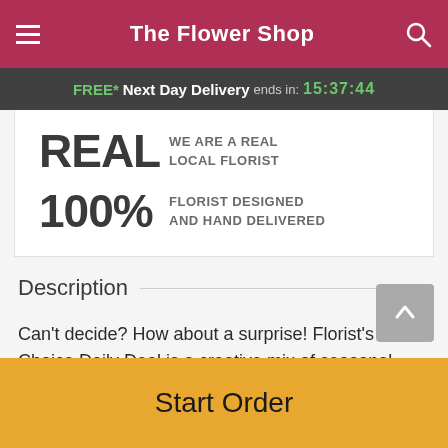The Flower Shop
FREE* Next Day Delivery ends in: 15:37:44
REAL WE ARE A REAL LOCAL FLORIST
100% FLORIST DESIGNED AND HAND DELIVERED
Description
Can't decide? How about a surprise! Florist's Choice Daily Deal is a creative mix of seasonal blooms arranged with
Start Order